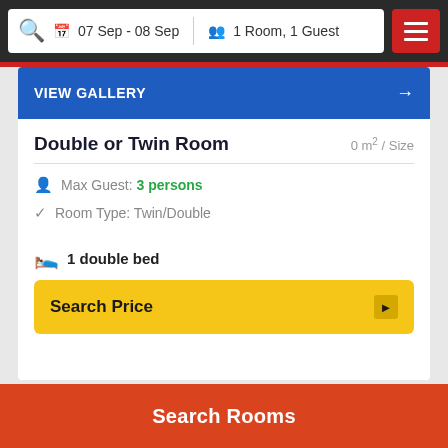07 Sep - 08 Sep  |  1 Room, 1 Guest
VIEW GALLERY →
Double or Twin Room
0 m² / Size
Max Guest: 3 persons
Room Type: Twin/Double
1 double bed
Search Price
Search Rooms